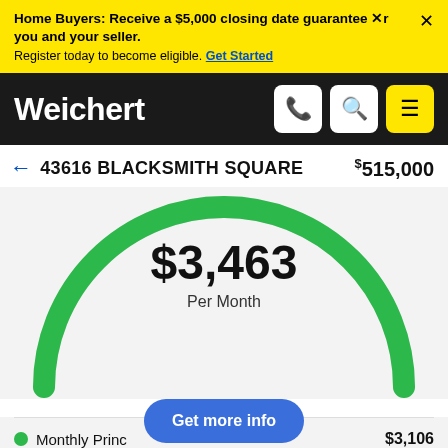Home Buyers: Receive a $5,000 closing date guarantee for you and your seller. Register today to become eligible. Get Started
Weichert
← 43616 BLACKSMITH SQUARE   $515,000
[Figure (donut-chart): Semicircular green gauge showing monthly mortgage payment of $3,463 per month]
Monthly Principal & Interest   $3,106
Monthly Property Taxes   $357